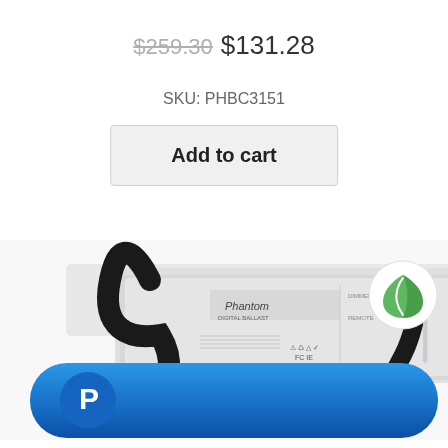$259.30  $131.28
SKU: PHBC3151
Add to cart
[Figure (photo): White Phantom brand ballast/power supply unit with black power cables connected, showing brand label and certification marks on the device body.]
[Figure (logo): Green leaf icon badge in white circular background, top right corner overlay on product image.]
[Figure (logo): PayPal button - blue rounded rectangle with PayPal P logo on left side, gradient blue background.]